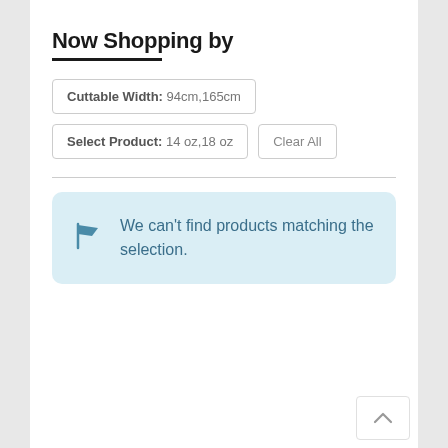Now Shopping by
Cuttable Width: 94cm,165cm
Select Product: 14 oz,18 oz
Clear All
We can't find products matching the selection.